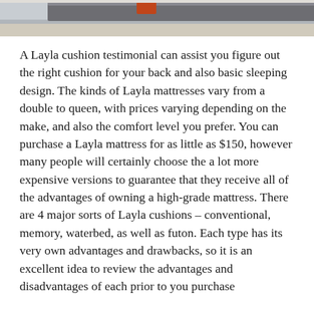[Figure (photo): Partial photo of a bedroom or living room setting showing furniture including what appears to be a sofa or bed frame, visible at the top of the page.]
A Layla cushion testimonial can assist you figure out the right cushion for your back and also basic sleeping design. The kinds of Layla mattresses vary from a double to queen, with prices varying depending on the make, and also the comfort level you prefer. You can purchase a Layla mattress for as little as $150, however many people will certainly choose the a lot more expensive versions to guarantee that they receive all of the advantages of owning a high-grade mattress. There are 4 major sorts of Layla cushions – conventional, memory, waterbed, as well as futon. Each type has its very own advantages and drawbacks, so it is an excellent idea to review the advantages and disadvantages of each prior to you purchase